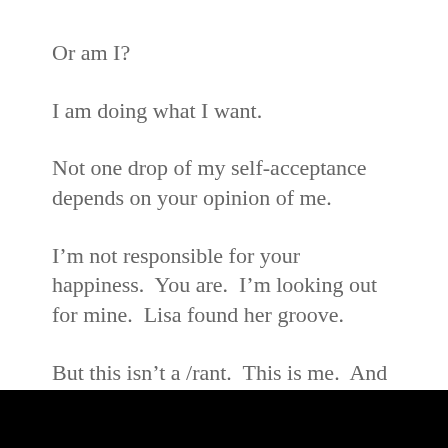Or am I?
I am doing what I want.
Not one drop of my self-acceptance depends on your opinion of me.
I’m not responsible for your happiness.  You are.  I’m looking out for mine.  Lisa found her groove.
But this isn’t a /rant.  This is me.  And it took a cancer diagnosis to set my spirit free.
[Figure (photo): Black rectangular image at the bottom of the page]